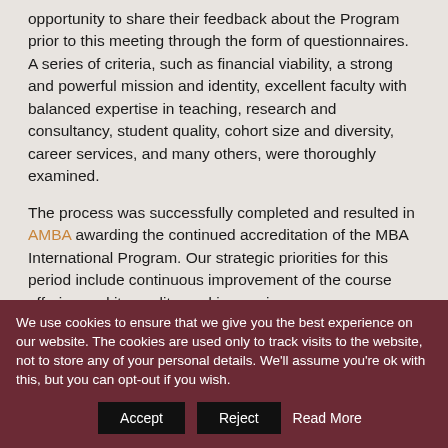opportunity to share their feedback about the Program prior to this meeting through the form of questionnaires. A series of criteria, such as financial viability, a strong and powerful mission and identity, excellent faculty with balanced expertise in teaching, research and consultancy, student quality, cohort size and diversity, career services, and many others, were thoroughly examined.
The process was successfully completed and resulted in AMBA awarding the continued accreditation of the MBA International Program. Our strategic priorities for this period include continuous improvement of the course offering and its quality, and increasing internationalization, both in terms of the study program itself and in terms of the MBA International's recruitment base.
We like to warmly thank all stakeholders, internal and external to the program and the university, for their longstanding and substantial contribution and commitment to the MBA International Program. We look forward to continuing the journey
We use cookies to ensure that we give you the best experience on our website. The cookies are used only to track visits to the website, not to store any of your personal details. We'll assume you're ok with this, but you can opt-out if you wish. Accept Reject Read More